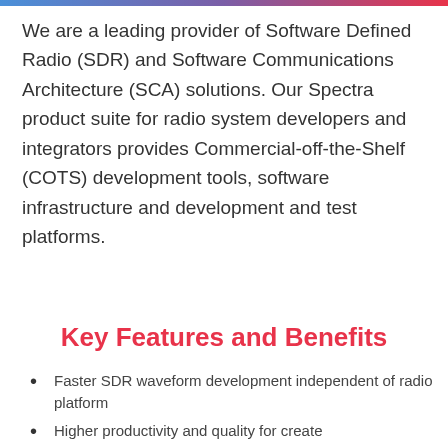We are a leading provider of Software Defined Radio (SDR) and Software Communications Architecture (SCA) solutions. Our Spectra product suite for radio system developers and integrators provides Commercial-off-the-Shelf (COTS) development tools, software infrastructure and development and test platforms.
Key Features and Benefits
Faster SDR waveform development independent of radio platform
Higher productivity and quality for create...